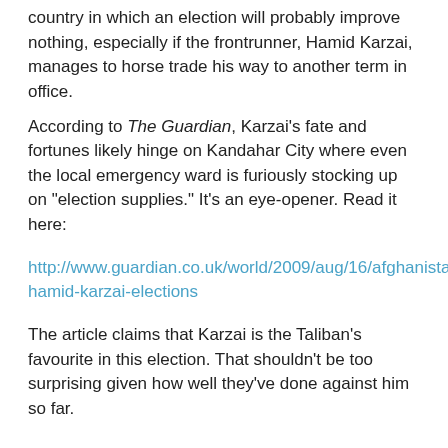country in which an election will probably improve nothing, especially if the frontrunner, Hamid Karzai, manages to horse trade his way to another term in office.
According to The Guardian, Karzai's fate and fortunes likely hinge on Kandahar City where even the local emergency ward is furiously stocking up on "election supplies." It's an eye-opener. Read it here:
http://www.guardian.co.uk/world/2009/aug/16/afghanistan-hamid-karzai-elections
The article claims that Karzai is the Taliban's favourite in this election. That shouldn't be too surprising given how well they've done against him so far.
The Mound of Sound at 6:18 AM    No comments:
Share
Saturday, August 15, 2009